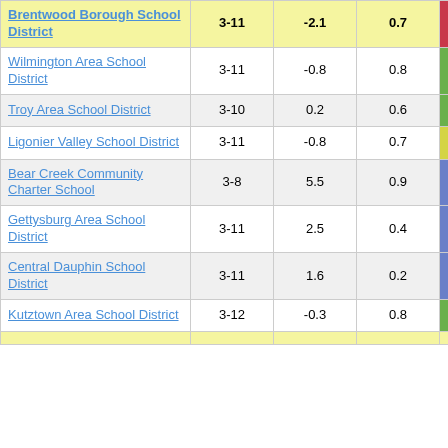| District | Grades | Col3 | Col4 | Score |
| --- | --- | --- | --- | --- |
| Brentwood Borough School District | 3-11 | -2.1 | 0.7 | -2.85 |
| Wilmington Area School District | 3-11 | -0.8 | 0.8 | -0.91 |
| Troy Area School District | 3-10 | 0.2 | 0.6 | 0.29 |
| Ligonier Valley School District | 3-11 | -0.8 | 0.7 | -1.21 |
| Bear Creek Community Charter School | 3-8 | 5.5 | 0.9 | 6.44 |
| Gettysburg Area School District | 3-11 | 2.5 | 0.4 | 5.70 |
| Central Dauphin School District | 3-11 | 1.6 | 0.2 | 6.95 |
| Kutztown Area School District | 3-12 | -0.3 | 0.8 | -0.40 |